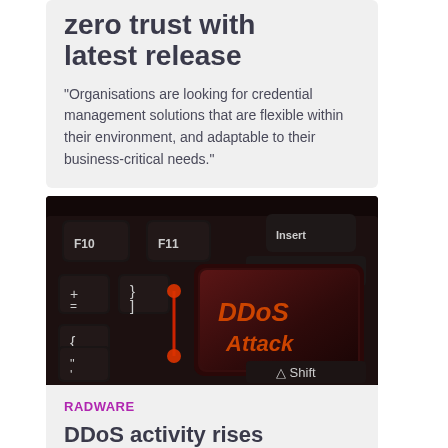zero trust with latest release
"Organisations are looking for credential management solutions that are flexible within their environment, and adaptable to their business-critical needs."
[Figure (photo): Close-up of a dark keyboard with a glowing red-lit key displaying 'DDoS Attack' in orange text, with surrounding keys showing programming symbols and F-key labels.]
RADWARE
DDoS activity rises dramatically - Radware report